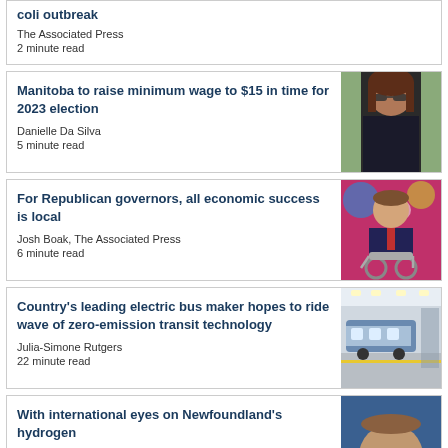coli outbreak
The Associated Press
2 minute read
Manitoba to raise minimum wage to $15 in time for 2023 election
Danielle Da Silva
5 minute read
[Figure (photo): Woman with dark hair wearing sunglasses and black clothing, speaking outdoors]
For Republican governors, all economic success is local
Josh Boak, The Associated Press
6 minute read
[Figure (photo): Man in suit sitting in wheelchair at colorful event backdrop with stars]
Country's leading electric bus maker hopes to ride wave of zero-emission transit technology
Julia-Simone Rutgers
22 minute read
[Figure (photo): Industrial factory floor with buses and bright lighting]
With international eyes on Newfoundland's hydrogen
[Figure (photo): Partial photo of a person]